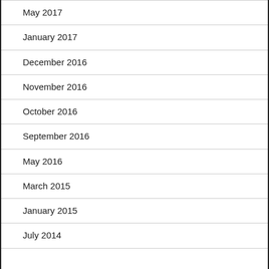May 2017
January 2017
December 2016
November 2016
October 2016
September 2016
May 2016
March 2015
January 2015
July 2014